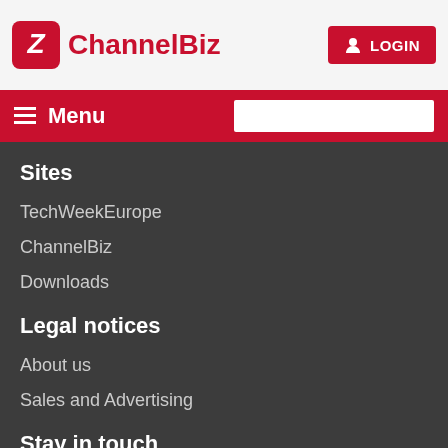ChannelBiz | LOGIN
Menu
Sites
TechWeekEurope
ChannelBiz
Downloads
Legal notices
About us
Sales and Advertising
Stay in touch
Contact us